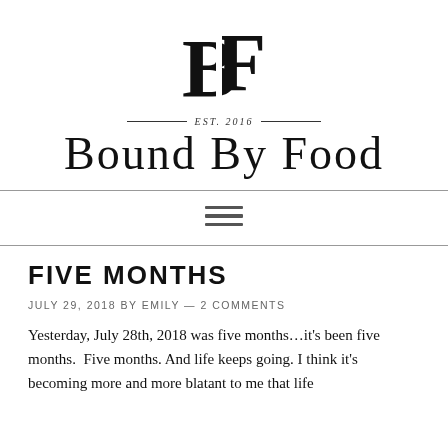[Figure (logo): BF monogram logo — stylized letter B and letter F combined, serif style]
EST. 2016
Bound By Food
[Figure (other): Hamburger menu icon — three horizontal dark bars]
FIVE MONTHS
JULY 29, 2018 BY EMILY — 2 COMMENTS
Yesterday, July 28th, 2018 was five months…it's been five months.  Five months. And life keeps going. I think it's becoming more and more blatant to me that life